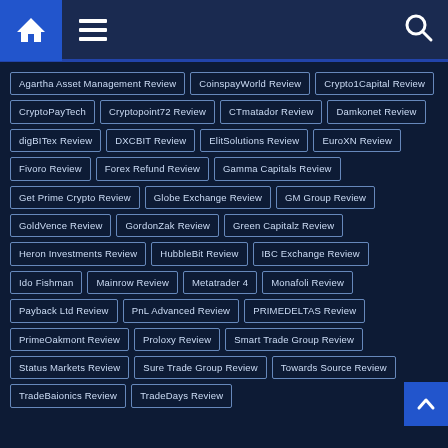Navigation header with home, menu, and search icons
Agartha Asset Management Review
CoinspayWorld Review
Crypto1Capital Review
CryptoPayTech
Cryptopoint72 Review
CTmatador Review
Damkonet Review
digBITex Review
DXCBIT Review
ElitSolutions Review
EuroXN Review
Fivoro Review
Forex Refund Review
Gamma Capitals Review
Get Prime Crypto Review
Globe Exchange Review
GM Group Review
GoldVence Review
GordonZak Review
Green Capitalz Review
Heron Investments Review
HubbleBit Review
IBC Exchange Review
Ido Fishman
Mainrow Review
Metatrader 4
Monafoli Review
Payback Ltd Review
PnL Advanced Review
PRIMEDELTAS Review
PrimeOakmont Review
Proloxy Review
Smart Trade Group Review
Status Markets Review
Sure Trade Group Review
Towards Source Review
TradeBaionics Review
TradeDays Review